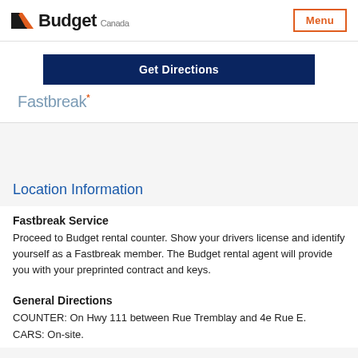Budget Canada | Menu
[Figure (screenshot): Dark navy blue 'Get Directions' button]
Fastbreak*
Location Information
Fastbreak Service
Proceed to Budget rental counter. Show your drivers license and identify yourself as a Fastbreak member. The Budget rental agent will provide you with your preprinted contract and keys.
General Directions
COUNTER: On Hwy 111 between Rue Tremblay and 4e Rue E.
CARS: On-site.